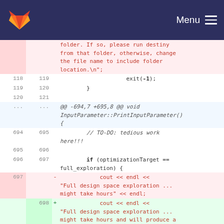GitLab navigation bar with logo and Menu
[Figure (screenshot): Code diff view showing file changes with line numbers, added and removed lines in a C++ source file involving exit(-1), closing brace, hunk header for void InputParameter::PrintInputParameter(), TO-DO comment, if condition with optimizationTarget == full_exploration, and cout statements for full design space exploration]
folder. If so, please run destiny from that folder, otherwise, change the file name to include folder location.\n";
exit(-1);
}
@@ -694,7 +695,8 @@ void InputParameter::PrintInputParameter() {
// TO-DO: tedious work here!!!
if (optimizationTarget == full_exploration) {
- cout << endl << "Full design space exploration ... might take hours" << endl;
+ cout << endl << "Full design space exploration ... might take hours and will produce a